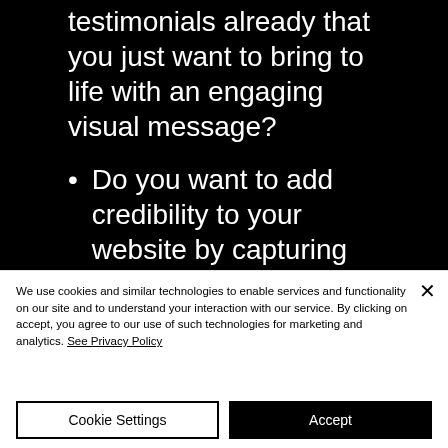testimonials already that you just want to bring to life with an engaging visual message?
Do you want to add credibility to your website by capturing your real clients
We use cookies and similar technologies to enable services and functionality on our site and to understand your interaction with our service. By clicking on accept, you agree to our use of such technologies for marketing and analytics. See Privacy Policy
Cookie Settings
Accept